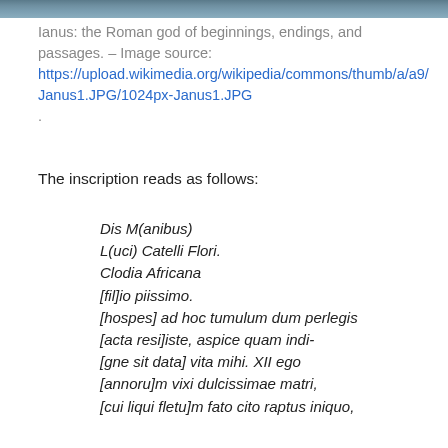[Figure (photo): Top strip of a photograph showing Janus, the Roman god of beginnings, endings, and passages.]
Ianus: the Roman god of beginnings, endings, and passages. – Image source: https://upload.wikimedia.org/wikipedia/commons/thumb/a/a9/Janus1.JPG/1024px-Janus1.JPG.
The inscription reads as follows:
Dis M(anibus)
L(uci) Catelli Flori.
Clodia Africana
[fil]io piissimo.
[hospes] ad hoc tumulum dum perlegis
[acta resi]iste, aspice quam indi-
[gne sit data] vita mihi. XII ego
[annoru]m vixi dulcissimae matri,
[cui liqui fletu]m fato cito raptus iniquo,